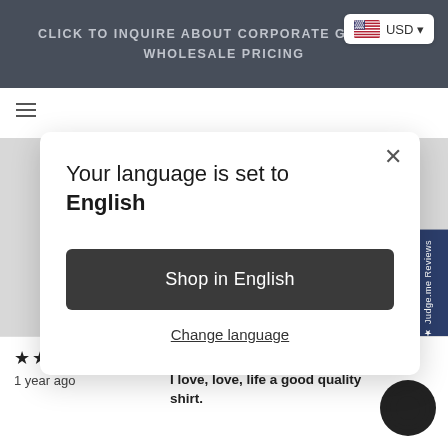CLICK TO INQUIRE ABOUT CORPORATE GIFTING + WHOLESALE PRICING
[Figure (screenshot): US flag icon with USD currency selector dropdown badge]
[Figure (screenshot): Website modal dialog overlay on e-commerce page]
Your language is set to English
Shop in English
Change language
★★★★★ 1 year ago  Tiffany Hollis (Myrtle Beach, US)  I love, love, life a good quality shirt.